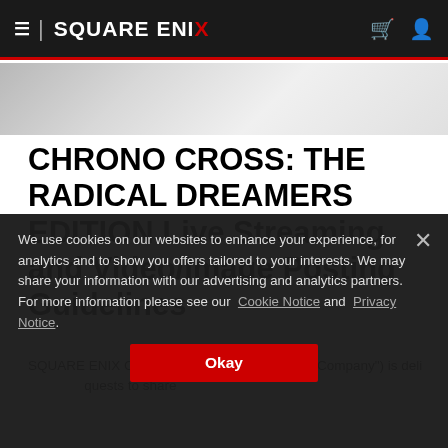≡ | SQUARE ENIX
CHRONO CROSS: THE RADICAL DREAMERS EDITION Live Streaming and Video/Image Posting Guidelines
We use cookies on our websites to enhance your experience, for analytics and to show you offers tailored to your interests. We may share your information with our advertising and analytics partners. For more information please see our Cookie Notice and Privacy Notice.
SQUARE ENIX CO. (referred to as the "Company") is deli... ...quests to share